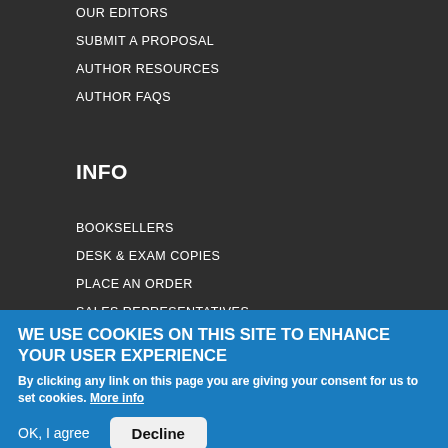OUR EDITORS
SUBMIT A PROPOSAL
AUTHOR RESOURCES
AUTHOR FAQS
INFO
BOOKSELLERS
DESK & EXAM COPIES
PLACE AN ORDER
SALES REPRESENTATIVES
EVENTS
CATALOGS
WE USE COOKIES ON THIS SITE TO ENHANCE YOUR USER EXPERIENCE
By clicking any link on this page you are giving your consent for us to set cookies. More info
OK, I agree | Decline